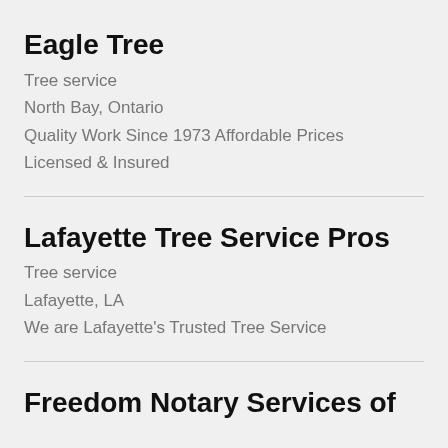Eagle Tree
Tree service
North Bay, Ontario
Quality Work Since 1973 Affordable Prices
Licensed & Insured
Lafayette Tree Service Pros
Tree service
Lafayette, LA
We are Lafayette's Trusted Tree Service
Freedom Notary Services of